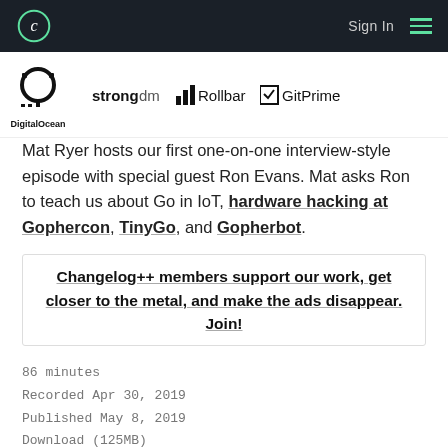C  Sign In  ☰
[Figure (logo): Sponsor logos: DigitalOcean, strongdm, Rollbar, GitPrime]
Mat Ryer hosts our first one-on-one interview-style episode with special guest Ron Evans. Mat asks Ron to teach us about Go in IoT, hardware hacking at Gophercon, TinyGo, and Gopherbot.
Changelog++ members support our work, get closer to the metal, and make the ads disappear. Join!
86 minutes
Recorded Apr 30, 2019
Published May 8, 2019
Download (125MB)
Transcript